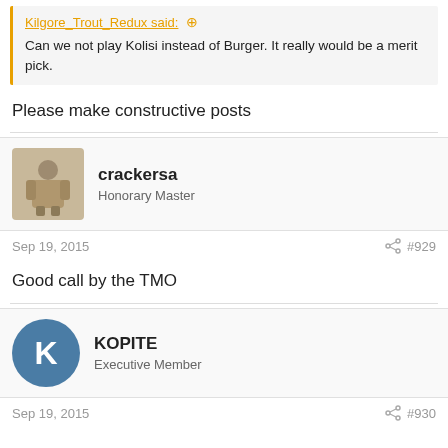Kilgore_Trout_Redux said: ↑
Can we not play Kolisi instead of Burger. It really would be a merit pick.
Please make constructive posts
crackersa
Honorary Master
Sep 19, 2015  #929
Good call by the TMO
KOPITE
Executive Member
Sep 19, 2015  #930